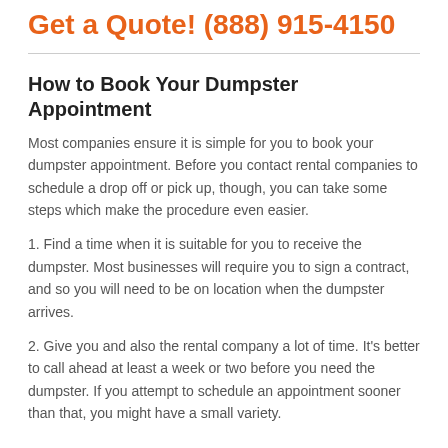Get a Quote! (888) 915-4150
How to Book Your Dumpster Appointment
Most companies ensure it is simple for you to book your dumpster appointment. Before you contact rental companies to schedule a drop off or pick up, though, you can take some steps which make the procedure even easier.
1. Find a time when it is suitable for you to receive the dumpster. Most businesses will require you to sign a contract, and so you will need to be on location when the dumpster arrives.
2. Give you and also the rental company a lot of time. It's better to call ahead at least a week or two before you need the dumpster. If you attempt to schedule an appointment sooner than that, you might have a small variety.